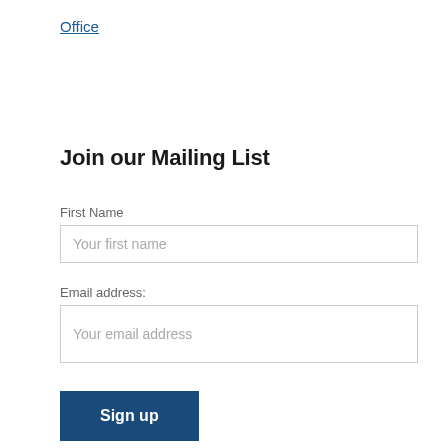Office
Join our Mailing List
First Name
Your first name
Email address:
Your email address
Sign up